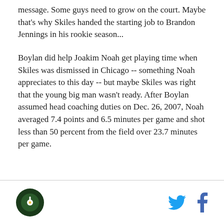message. Some guys need to grow on the court. Maybe that's why Skiles handed the starting job to Brandon Jennings in his rookie season...
Boylan did help Joakim Noah get playing time when Skiles was dismissed in Chicago -- something Noah appreciates to this day -- but maybe Skiles was right that the young big man wasn't ready. After Boylan assumed head coaching duties on Dec. 26, 2007, Noah averaged 7.4 points and 6.5 minutes per game and shot less than 50 percent from the field over 23.7 minutes per game.
[logo] [twitter] [facebook]